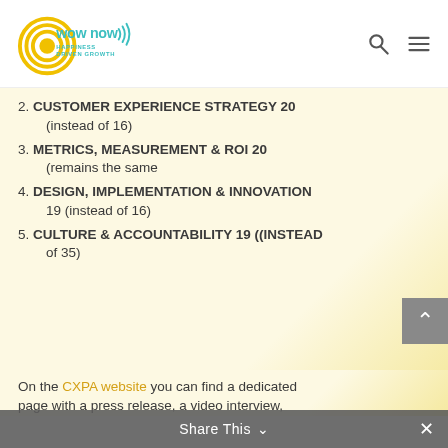[Figure (logo): WowNow Happiness Driven Growth logo with yellow concentric circles and teal text]
2. CUSTOMER EXPERIENCE STRATEGY 20 (instead of 16)
3. METRICS, MEASUREMENT & ROI 20 (remains the same
4. DESIGN, IMPLEMENTATION & INNOVATION 19 (instead of 16)
5. CULTURE & ACCOUNTABILITY 19 ((instead of 35)
On the CXPA website you can find a dedicated page with a press release, a video interview,